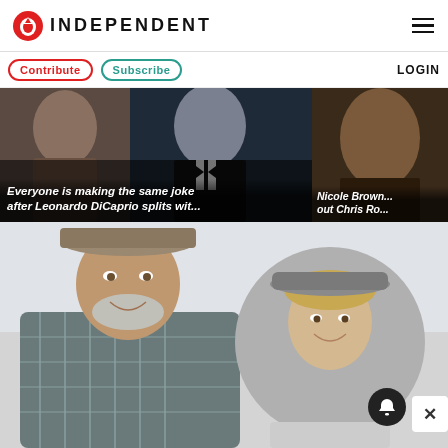INDEPENDENT
Contribute  Subscribe  LOGIN
[Figure (photo): Article card with Leonardo DiCaprio and a woman. Overlay text: Everyone is making the same joke after Leonardo DiCaprio splits wit...]
[Figure (photo): Article card with a person of colour. Overlay text: Nicole Brown... out Chris Ro...]
[Figure (photo): Large main image showing an older man in a plaid shirt and hat smiling, and a woman in a grey hat smiling, with a notification button and close button overlay.]